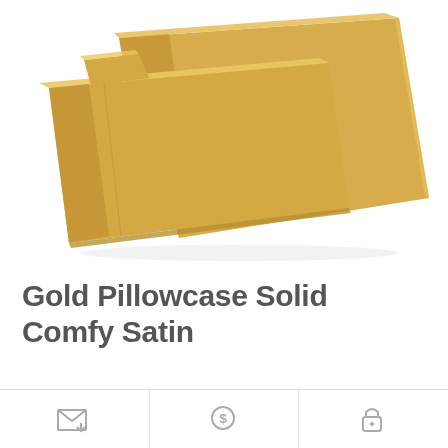[Figure (photo): Gold/tan colored satin pillowcases folded and stacked, shown on white background. The fabric has a shiny satin finish in a warm golden color.]
Gold Pillowcase Solid Comfy Satin
[Figure (infographic): Three small icons at the bottom of the page separated by vertical dividers. Left icon appears to be an envelope/mail icon, center icon appears to be a search/magnify icon, right icon appears to be a lock/security icon.]